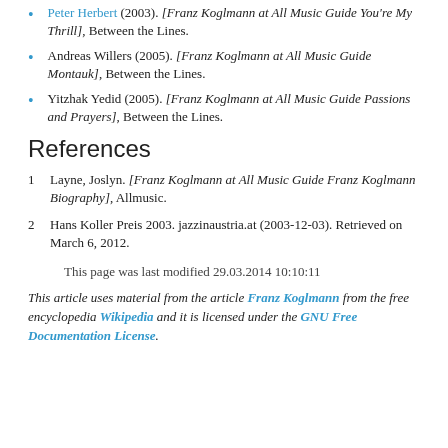Peter Herbert (2003). [Franz Koglmann at All Music Guide You're My Thrill], Between the Lines.
Andreas Willers (2005). [Franz Koglmann at All Music Guide Montauk], Between the Lines.
Yitzhak Yedid (2005). [Franz Koglmann at All Music Guide Passions and Prayers], Between the Lines.
References
1  Layne, Joslyn. [Franz Koglmann at All Music Guide Franz Koglmann Biography], Allmusic.
2  Hans Koller Preis 2003. jazzinaustria.at (2003-12-03). Retrieved on March 6, 2012.
This page was last modified 29.03.2014 10:10:11
This article uses material from the article Franz Koglmann from the free encyclopedia Wikipedia and it is licensed under the GNU Free Documentation License.